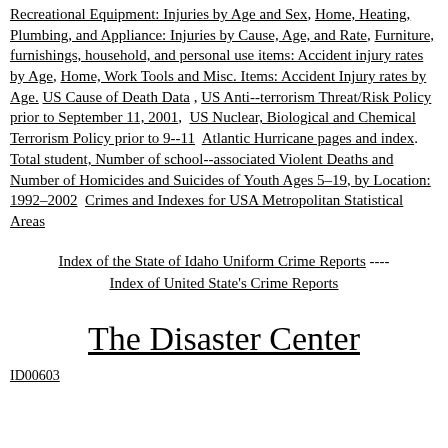Recreational Equipment: Injuries by Age and Sex, Home, Heating, Plumbing, and Appliance: Injuries by Cause, Age, and Rate, Furniture, furnishings, household, and personal use items: Accident injury rates by Age, Home, Work Tools and Misc. Items: Accident Injury rates by Age. US Cause of Death Data , US Anti--terrorism Threat/Risk Policy prior to September 11, 2001,  US Nuclear, Biological and Chemical Terrorism Policy prior to 9--11  Atlantic Hurricane pages and index.  Total student, Number of school--associated Violent Deaths and Number of Homicides and Suicides of Youth Ages 5–19, by Location: 1992–2002  Crimes and Indexes for USA Metropolitan Statistical Areas
Index of the State of Idaho Uniform Crime Reports ---- Index of United State's Crime Reports
The Disaster Center
ID00603